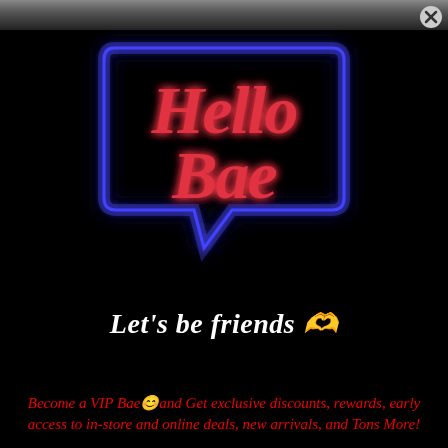[Figure (photo): Neon sign in speech bubble shape showing 'Hello Bae' in glowing red script letters with a blue neon border, on a black background]
Let's be friends 🫶
Become a VIP Bae😊and Get exclusive discounts, rewards, early access to in-store and online deals, new arrivals, and Tons More!